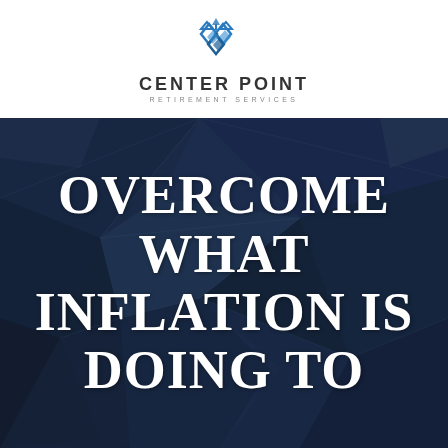[Figure (logo): Center Point Retirement Services logo with geometric diamond/chain link icon in blue above company name]
[Figure (photo): Dark navy blue geometric architectural background with angular faceted surfaces forming polygon shapes, with large white bold serif text overlay reading OVERCOME WHAT INFLATION IS DOING TO]
OVERCOME WHAT INFLATION IS DOING TO